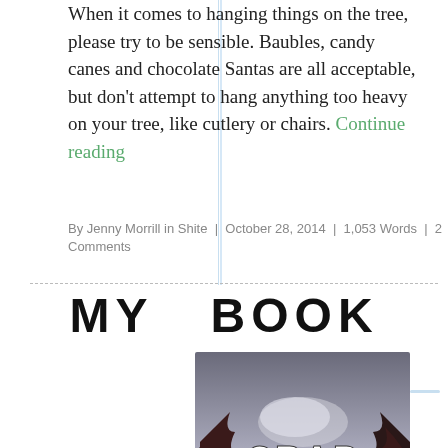When it comes to hanging things on the tree, please try to be sensible. Baubles, candy canes and chocolate Santas are all acceptable, but don't attempt to hang anything too heavy on your tree, like cutlery or chairs. Continue reading
By Jenny Morrill in Shite | October 28, 2014 | 1,053 Words | 2 Comments
MY BOOK
[Figure (illustration): Book cover showing 'CRAP HOLIDAY' text in white chunky letters against a dark moody background with trees and clouds]